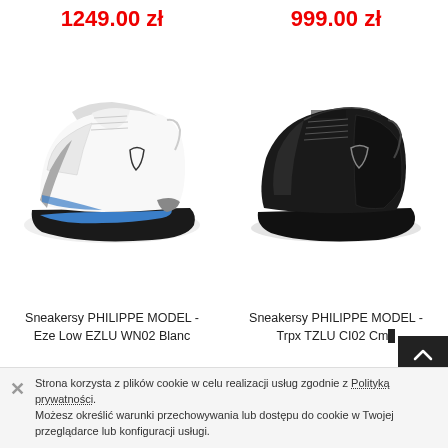1249.00 zł
999.00 zł
[Figure (photo): White Philippe Model sneaker with blue accents (Eze Low EZLU WN02 Blanc)]
[Figure (photo): Black Philippe Model sneaker (Trpx TZLU CI02 Cm...)]
Sneakersy PHILIPPE MODEL - Eze Low EZLU WN02 Blanc
Sneakersy PHILIPPE MODEL - Trpx TZLU CI02 Cm...
Strona korzysta z plików cookie w celu realizacji usług zgodnie z Polityką prywatności. Możesz określić warunki przechowywania lub dostępu do cookie w Twojej przeglądarce lub konfiguracji usługi.